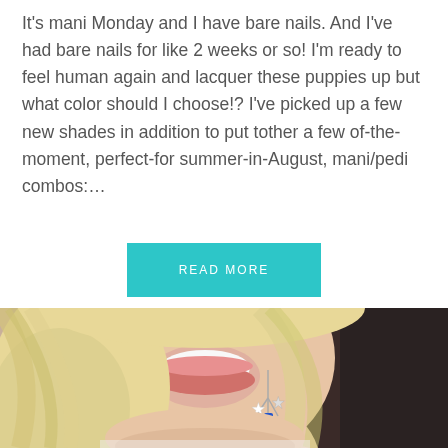It's mani Monday and I have bare nails. And I've had bare nails for like 2 weeks or so! I'm ready to feel human again and lacquer these puppies up but what color should I choose!? I've picked up a few new shades in addition to put tother a few of-the-moment, perfect-for summer-in-August, mani/pedi combos:...
READ MORE
[Figure (photo): Close-up photo of a smiling blonde woman with long wavy hair, wearing star and colored charm earrings (red, blue, silver stars), with a dark background on the right side.]